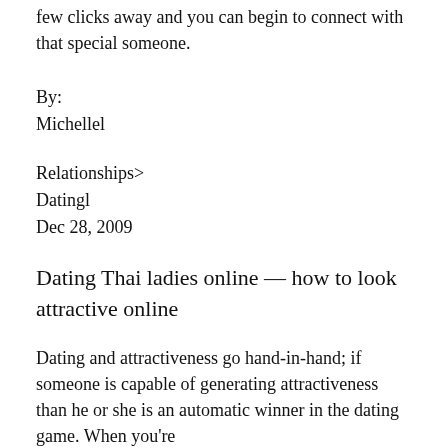few clicks away and you can begin to connect with that special someone.
By:
Michellel
Relationships>
Datingl
Dec 28, 2009
Dating Thai ladies online — how to look attractive online
Dating and attractiveness go hand-in-hand; if someone is capable of generating attractiveness than he or she is an automatic winner in the dating game. When you're